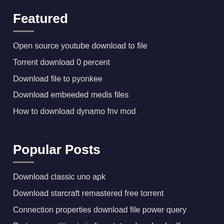Featured
Open source youtube download to file
Torrent download 0 percent
Download file to pyonkee
Download embeeded medis files
How to download dynamo fnv mod
Popular Posts
Download classic uno apk
Download starcraft remastered free torrent
Connection properties download file power query
Party competition in indian states download pdf
Free the accidental administrator pdf don crawley download